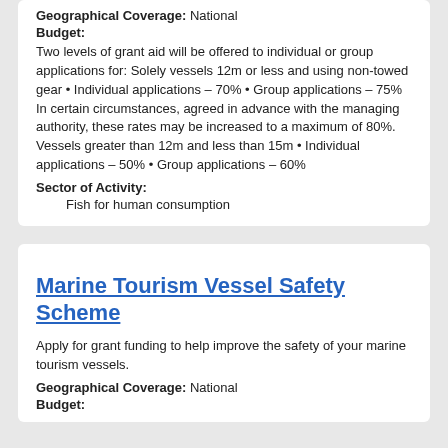Geographical Coverage: National
Budget:
Two levels of grant aid will be offered to individual or group applications for: Solely vessels 12m or less and using non-towed gear • Individual applications – 70% • Group applications – 75% In certain circumstances, agreed in advance with the managing authority, these rates may be increased to a maximum of 80%. Vessels greater than 12m and less than 15m • Individual applications – 50% • Group applications – 60%
Sector of Activity:
Fish for human consumption
Marine Tourism Vessel Safety Scheme
Apply for grant funding to help improve the safety of your marine tourism vessels.
Geographical Coverage: National
Budget: